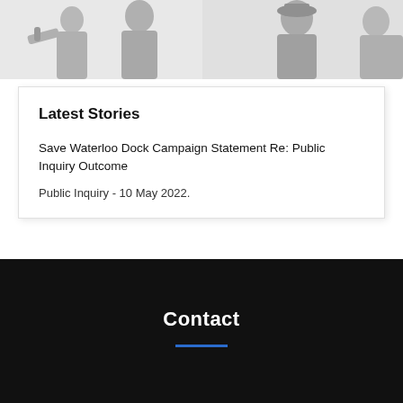[Figure (illustration): Grayscale illustration banner showing figures/silhouettes in a documentary or protest style, split into two panels]
Latest Stories
Save Waterloo Dock Campaign Statement Re: Public Inquiry Outcome
Public Inquiry - 10 May 2022.
Contact